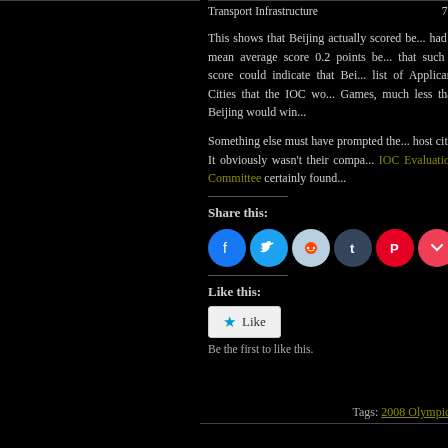| Transport Infrastructure | 7.6 |
| --- | --- |
This shows that Beijing actually scored be... had a mean average score 0.2 points be... that such a score could indicate that Bei... list of Applicant Cities that the IOC wo... Games, much less that Beijing would win...
Something else must have prompted the... host city. It obviously wasn't their compa... IOC Evaluation Committee certainly found...
Share this:
[Figure (infographic): Social sharing icons: Facebook (blue), Twitter (light blue), Reddit (light blue/grey), Tumblr (dark blue), Pinterest (red), Pocket (red), Email (light grey)]
Like this:
[Figure (infographic): Like button widget with star icon and 'Like' text]
Be the first to like this.
Tags: 2008 Olympics...